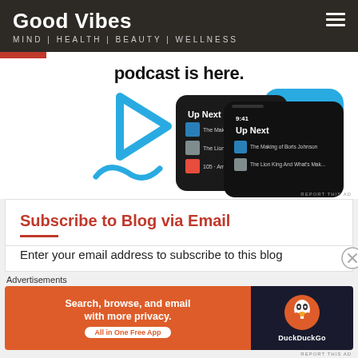Good Vibes — MIND | HEALTH | BEAUTY | WELLNESS
[Figure (screenshot): Spotify podcast app screenshot showing 'Up Next' queue with podcast episodes including 'The Making of Boris Johnson' and 'The Lion King And What's Mak...' on two overlapping phone screens with blue play icon, on white background. Text reads 'podcast is here.']
REPORT THIS AD
Subscribe to Blog via Email
Enter your email address to subscribe to this blog
Advertisements
[Figure (screenshot): DuckDuckGo advertisement banner: orange left side with text 'Search, browse, and email with more privacy. All in One Free App'; dark right side with DuckDuckGo duck logo and brand name.]
REPORT THIS AD